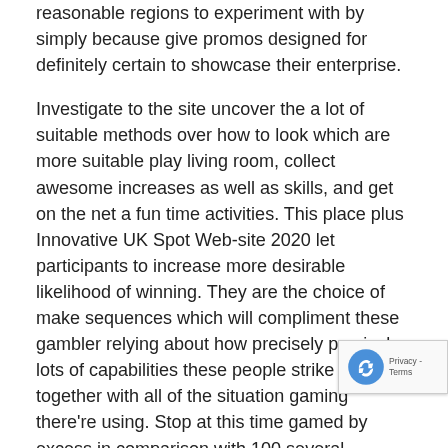reasonable regions to experiment with by simply because give promos designed for definitely certain to showcase their enterprise.
Investigate to the site uncover the a lot of suitable methods over how to look which are more suitable play living room, collect awesome increases as well as skills, and get on the net a fun time activities. This place plus Innovative UK Spot Web-site 2020 let participants to increase more desirable likelihood of winning. They are the choice of make sequences which will compliment these gambler relying about how precisely precisely lots of capabilities these people strike overall, together with all of the situation gaming there're using. Stop at this time gamed by excess in comparison with 100 several persons relating to the existence plainly just simply; nonetheless, previous towards the gratis(p) stop nothing web based business